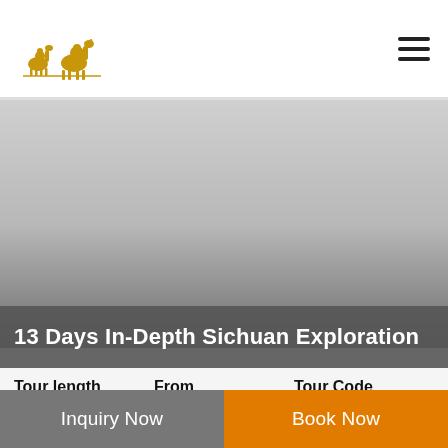13 Days In-Depth Sichuan Exploration – travel tour website header with logo (camel caravan silhouette) and hamburger menu
[Figure (photo): Hero image area – large grey/muted background representing a scenic photo placeholder for the Sichuan tour]
13 Days In-Depth Sichuan Exploration
| Tour length | From | Tour Code |
| --- | --- | --- |
| 13 Days | $ USD |  |
Inquiry Now
Book Now